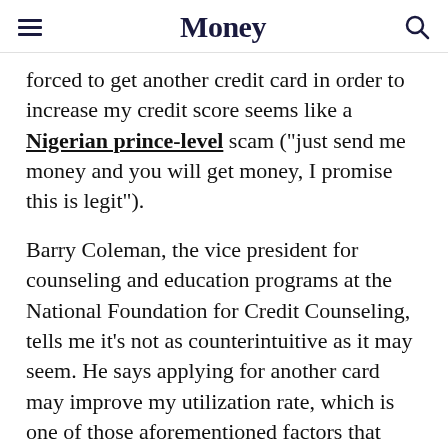Money
forced to get another credit card in order to increase my credit score seems like a Nigerian prince-level scam ("just send me money and you will get money, I promise this is legit").
Barry Coleman, the vice president for counseling and education programs at the National Foundation for Credit Counseling, tells me it's not as counterintuitive as it may seem. He says applying for another card may improve my utilization rate, which is one of those aforementioned factors that